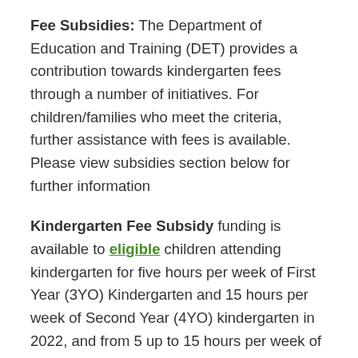Fee Subsidies: The Department of Education and Training (DET) provides a contribution towards kindergarten fees through a number of initiatives. For children/families who meet the criteria, further assistance with fees is available. Please view subsidies section below for further information
Kindergarten Fee Subsidy funding is available to eligible children attending kindergarten for five hours per week of First Year (3YO) Kindergarten and 15 hours per week of Second Year (4YO) kindergarten in 2022, and from 5 up to 15 hours per week of First Year (3YO) Kindergarten and 15 per week of